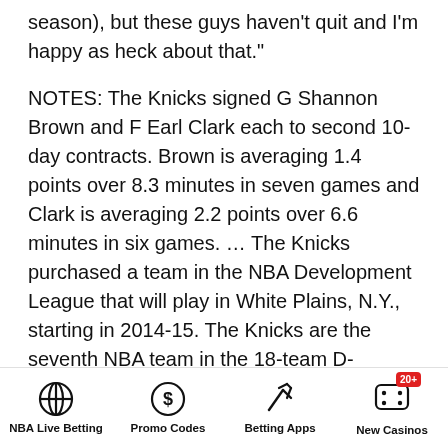season), but these guys haven't quit and I'm happy as heck about that."
NOTES: The Knicks signed G Shannon Brown and F Earl Clark each to second 10-day contracts. Brown is averaging 1.4 points over 8.3 minutes in seven games and Clark is averaging 2.2 points over 6.6 minutes in six games. … The Knicks purchased a team in the NBA Development League that will play in White Plains, N.Y., starting in 2014-15. The Knicks are the seventh NBA team in the 18-team D-League to fully own and operate their own affiliate. … Knicks F Carmelo Anthony was named the Eastern Conference Player of the Week for March 3-9. … Philadelphia G Michael Carter-Williams leads all rookies in scoring, assists, rebounds and steals. … There are just three players on the 76ers (F Arnett
NBA Live Betting | Promo Codes | Betting Apps | New Casinos